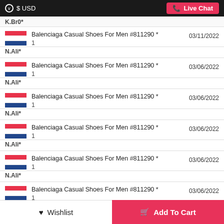$ USD   Live Chat
K.Br0*
Balenciaga Casual Shoes For Men #811290 * 1  N.Ali*  03/11/2022
Balenciaga Casual Shoes For Men #811290 * 1  N.Ali*  03/06/2022
Balenciaga Casual Shoes For Men #811290 * 1  N.Ali*  03/06/2022
Balenciaga Casual Shoes For Men #811290 * 1  N.Ali*  03/06/2022
Balenciaga Casual Shoes For Men #811290 * 1  N.Ali*  03/06/2022
Balenciaga Casual Shoes For Men #811290 * 1   03/06/2022
Wishlist   Add To Cart